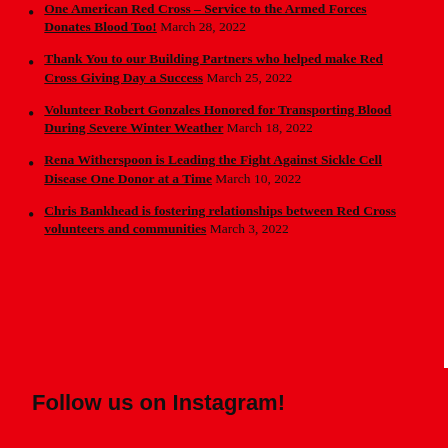One American Red Cross – Service to the Armed Forces Donates Blood Too! March 28, 2022
Thank You to our Building Partners who helped make Red Cross Giving Day a Success March 25, 2022
Volunteer Robert Gonzales Honored for Transporting Blood During Severe Winter Weather March 18, 2022
Rena Witherspoon is Leading the Fight Against Sickle Cell Disease One Donor at a Time March 10, 2022
Chris Bankhead is fostering relationships between Red Cross volunteers and communities March 3, 2022
Follow us on Instagram!